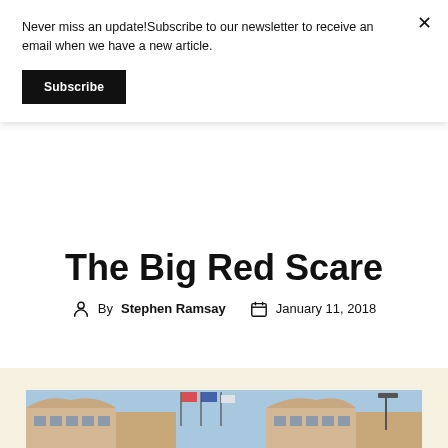Never miss an update!Subscribe to our newsletter to receive an email when we have a new article.
Subscribe
The Big Red Scare
By Stephen Ramsay  January 11, 2018
[Figure (photo): Photograph of a stadium building exterior with tan/beige facade, multiple arched windows, flagpoles with flags, and stadium lights visible, taken against a blue sky.]